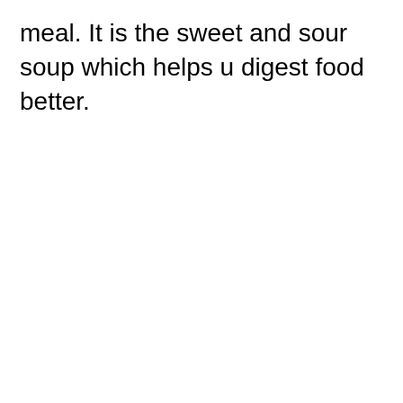meal. It is the sweet and sour soup which helps u digest food better.